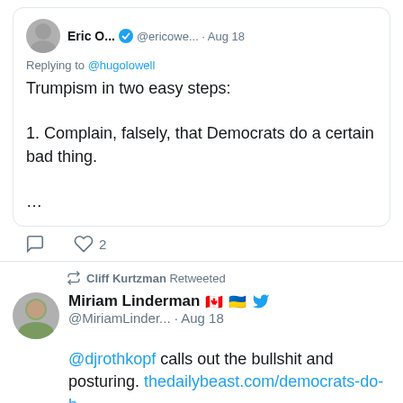[Figure (screenshot): Tweet from Eric O... @ericowe... Aug 18, replying to @hugolowell: 'Trumpism in two easy steps: 1. Complain, falsely, that Democrats do a certain bad thing. ...' with 2 likes]
[Figure (screenshot): Cliff Kurtzman Retweeted. Miriam Linderman (Canadian and Ukrainian flag emojis) @MiriamLinder... Aug 18: '@djrothkopf calls out the bullshit and posturing. thedailybeast.com/democrats-do-b...' with an attached image showing Trump flexing]
[Figure (photo): Photo of Trump face on a flexing muscular figure, black and white]